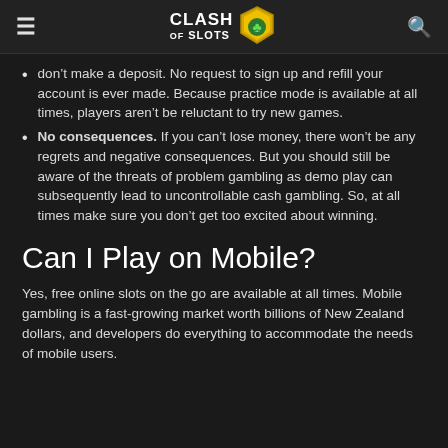CLASH OF SLOTS
don't make a deposit. No request to sign up and refill your account is ever made. Because practice mode is available at all times, players aren't be reluctant to try new games.
No consequences. If you can't lose money, there won't be any regrets and negative consequences. But you should still be aware of the threats of problem gambling as demo play can subsequently lead to uncontrollable cash gambling. So, at all times make sure you don't get too excited about winning.
Can I Play on Mobile?
Yes, free online slots on the go are available at all times. Mobile gambling is a fast-growing market worth billions of New Zealand dollars, and developers do everything to accommodate the needs of mobile users.